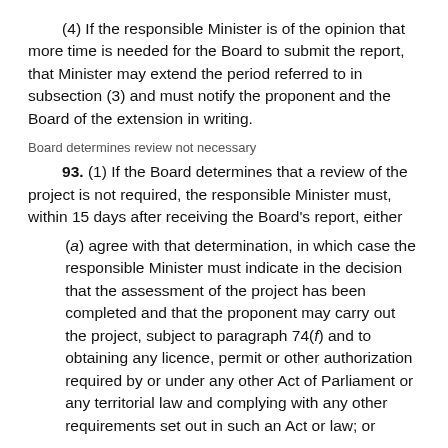(4) If the responsible Minister is of the opinion that more time is needed for the Board to submit the report, that Minister may extend the period referred to in subsection (3) and must notify the proponent and the Board of the extension in writing.
Board determines review not necessary
93. (1) If the Board determines that a review of the project is not required, the responsible Minister must, within 15 days after receiving the Board's report, either
(a) agree with that determination, in which case the responsible Minister must indicate in the decision that the assessment of the project has been completed and that the proponent may carry out the project, subject to paragraph 74(f) and to obtaining any licence, permit or other authorization required by or under any other Act of Parliament or any territorial law and complying with any other requirements set out in such an Act or law; or
(b) reject that determination, if the responsible Minister is of the opinion that the project should be reviewed, in which case subparagraph 94(1)(a)(i), (ii), (iii) or (iv) applies to the project proposal.